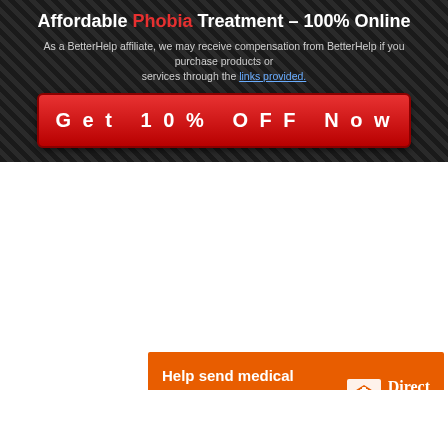Affordable Phobia Treatment – 100% Online
As a BetterHelp affiliate, we may receive compensation from BetterHelp if you purchase products or services through the links provided.
[Figure (infographic): Red CTA button reading 'Get 10% OFF Now' on dark diagonal-striped background]
[Figure (infographic): Direct Relief orange banner: 'Help send medical aid to Ukraine >>' with Direct Relief logo (white box icon and serif wordmark)]